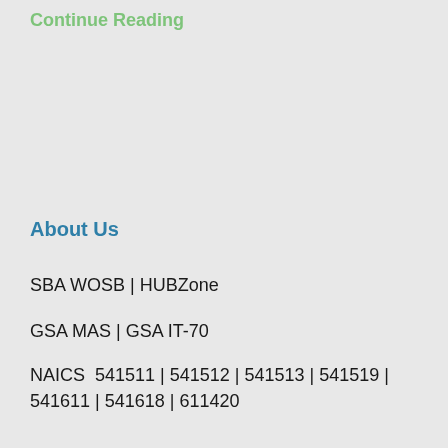Continue Reading
About Us
SBA WOSB | HUBZone
GSA MAS | GSA IT-70
NAICS  541511 | 541512 | 541513 | 541519 | 541611 | 541618 | 611420